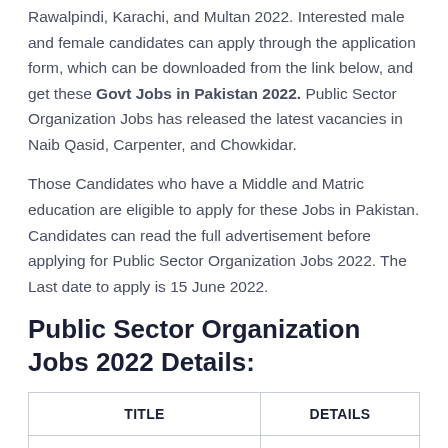Rawalpindi, Karachi, and Multan 2022. Interested male and female candidates can apply through the application form, which can be downloaded from the link below, and get these Govt Jobs in Pakistan 2022. Public Sector Organization Jobs has released the latest vacancies in Naib Qasid, Carpenter, and Chowkidar.
Those Candidates who have a Middle and Matric education are eligible to apply for these Jobs in Pakistan. Candidates can read the full advertisement before applying for Public Sector Organization Jobs 2022. The Last date to apply is 15 June 2022.
Public Sector Organization Jobs 2022 Details:
| TITLE | DETAILS |
| --- | --- |
| Jobs Location | Pakistan |